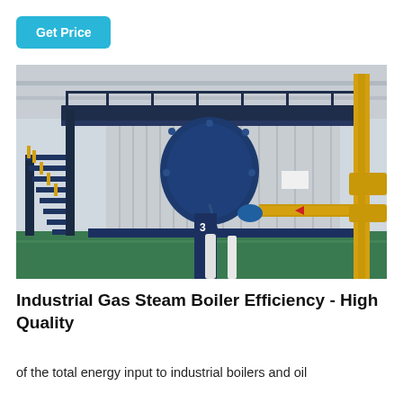Get Price
[Figure (photo): Industrial gas steam boiler inside a factory building. Large blue cylindrical boiler with circular front burner head, metal staircases on the left, yellow piping and fittings on the right, silver insulated body extending to the right, set on a green factory floor.]
Industrial Gas Steam Boiler Efficiency - High Quality
of the total energy input to industrial boilers and oil